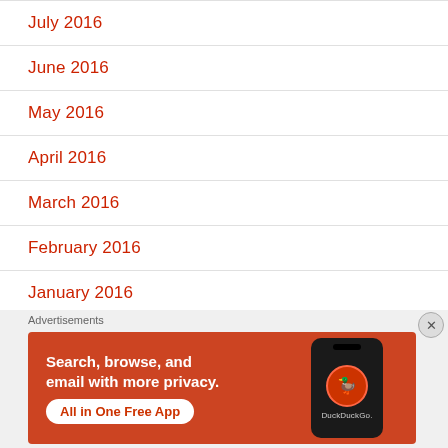July 2016
June 2016
May 2016
April 2016
March 2016
February 2016
January 2016
December 2015
[Figure (other): DuckDuckGo advertisement banner: orange background with text 'Search, browse, and email with more privacy. All in One Free App' and a smartphone image showing the DuckDuckGo logo]